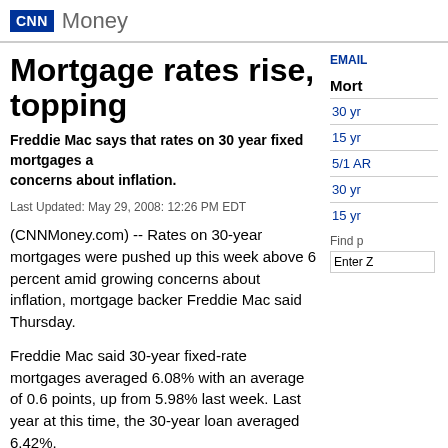CNN Money
Mortgage rates rise, topping
Freddie Mac says that rates on 30 year fixed mortgages a... concerns about inflation.
Last Updated: May 29, 2008: 12:26 PM EDT
(CNNMoney.com) -- Rates on 30-year mortgages were pushed up this week above 6 percent amid growing concerns about inflation, mortgage backer Freddie Mac said Thursday.
Freddie Mac said 30-year fixed-rate mortgages averaged 6.08% with an average of 0.6 points, up from 5.98% last week. Last year at this time, the 30-year loan averaged 6.42%.
"Mortgage rates drifted up this week over market concerns that the Federal Reserve Board may raise short-term rates later this year," said Frank Nothaft, Freddie Mac vice president and chief economist, in a statement.
| Type |
| --- |
| 30 yr |
| 15 yr |
| 5/1 AR |
| 30 yr |
| 15 yr |